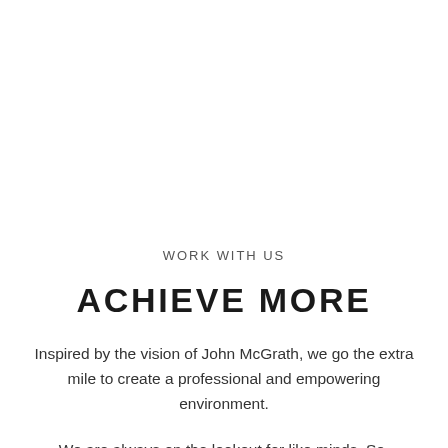WORK WITH US
ACHIEVE MORE
Inspired by the vision of John McGrath, we go the extra mile to create a professional and empowering environment.
We are always on the lookout for like minds. So,